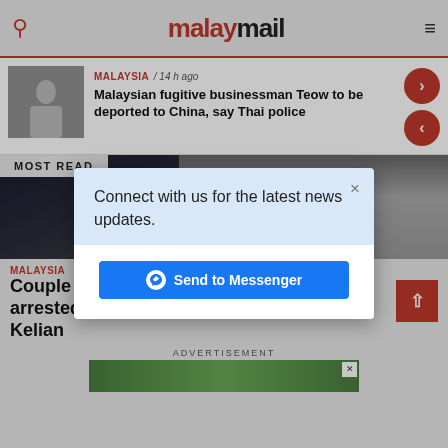malaymail
MALAYSIA / 14 h ago
Malaysian fugitive businessman Teow to be deported to China, say Thai police
MOST READ
[Figure (photo): Dark background photo showing handcuffs or mechanical device with circular elements]
MALAYSIA
Couple carrying Malaysian passport arrested for human trafficking in Wang Kelian
ADVERTISEMENT
[Figure (screenshot): Modal popup dialog with 'Connect with us for the latest news updates.' message and 'Send to Messenger' button]